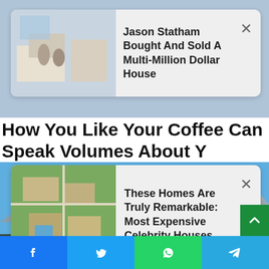[Figure (screenshot): Ad card: Jason Statham Bought And Sold A Multi-Million Dollar House, with thumbnail of a luxury interior]
How You Like Your Coffee Can Speak Volumes About Y
[Figure (screenshot): Ad card: These Homes Are Truly Remarkable: Most Expensive Celebrity Houses, with aerial thumbnail of luxury properties]
[Figure (photo): Woman wearing sunglasses and black Prada outfit, posed in front of snowy mountains under blue sky]
Facebook | Twitter | WhatsApp | Telegram share bar